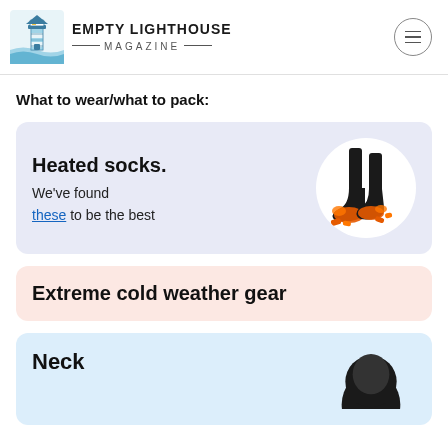[Figure (logo): Empty Lighthouse Magazine logo with lighthouse icon and hamburger menu button]
What to wear/what to pack:
Heated socks. We've found these to be the best
[Figure (photo): Black heated socks with orange glowing heated areas at the feet]
Extreme cold weather gear
Neck